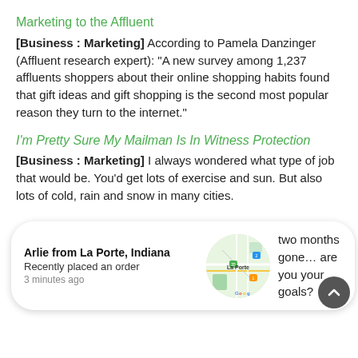Marketing to the Affluent
[Business : Marketing] According to Pamela Danzinger (Affluent research expert): “A new survey among 1,237 affluents shoppers about their online shopping habits found that gift ideas and gift shopping is the second most popular reason they turn to the internet.”
I’m Pretty Sure My Mailman Is In Witness Protection
[Business : Marketing] I always wondered what type of job that would be. You’d get lots of exercise and sun. But also lots of cold, rain and snow in many cities.
[Figure (infographic): Notification card showing 'Arlie from La Porte, Indiana — Recently placed an order — 3 minutes ago' with a Google Maps thumbnail of La Porte, Indiana, and trailing text 'two months gone... are you [achieving] your goals?']